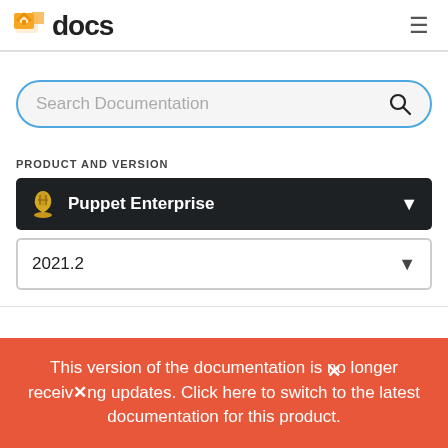docs
[Figure (screenshot): Search Documentation input box with magnifying glass icon, rounded rectangle with blue border]
PRODUCT AND VERSION
[Figure (screenshot): Dark dropdown selector showing Puppet Enterprise with flask icon and chevron arrow]
[Figure (screenshot): Light dropdown selector showing version 2021.2 with chevron arrow]
This version of the documentation is no longer receiving updates. Click here to switch to the latest documentation for this product.